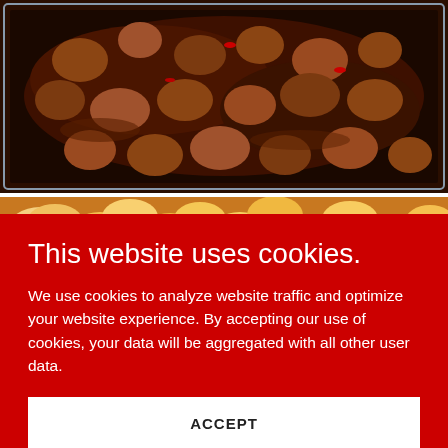[Figure (photo): Close-up photo of fried chicken pieces in dark sauce/glaze in a metal tray, viewed from above]
[Figure (photo): Close-up photo of orange/yellow glazed shrimp or similar seafood in a tray]
This website uses cookies.
We use cookies to analyze website traffic and optimize your website experience. By accepting our use of cookies, your data will be aggregated with all other user data.
ACCEPT